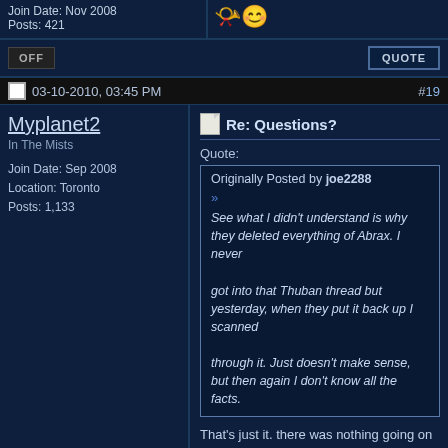Join Date: Nov 2008
Posts: 421
03-10-2010, 03:45 PM  #19
Myplanet2
In The Mists
Join Date: Sep 2008
Location: Toronto
Posts: 1,133
Re: Questions?
Quote:
Originally Posted by joe2288
>>
See what I didn't understand is why they deleted everything of Abrax. I never

got into that Thuban thread but yesterday, when they put it back up I scanned

through it. Just doesn't make sense, but then again I don't know all the facts.
That's just it. there was nothing going on there, until exception was taken, followed by actions taken. And it went down from there. It would all have gone away naturally if it hadn't been conspired against. And the rest is the back and forth over the injustice on the one hand, and the